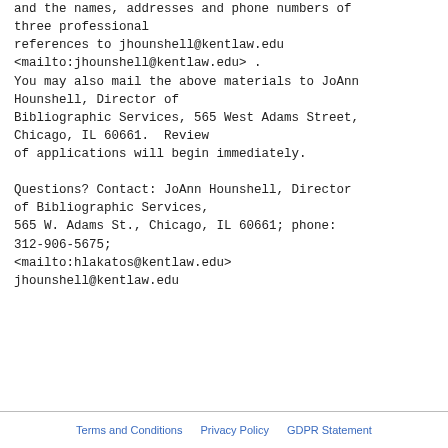and the names, addresses and phone numbers of three professional references to jhounshell@kentlaw.edu <mailto:jhounshell@kentlaw.edu> .
You may also mail the above materials to JoAnn Hounshell, Director of Bibliographic Services, 565 West Adams Street, Chicago, IL 60661.  Review of applications will begin immediately.

Questions? Contact: JoAnn Hounshell, Director of Bibliographic Services,
565 W. Adams St., Chicago, IL 60661; phone: 312-906-5675;
<mailto:hlakatos@kentlaw.edu>
jhounshell@kentlaw.edu
Terms and Conditions   Privacy Policy   GDPR Statement